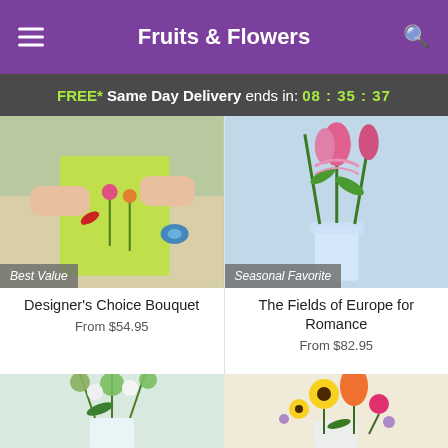Fruits & Flowers
FREE* Same Day Delivery ends in: 08 : 35 : 37
[Figure (photo): Florist cutting flowers, labeled Best Value]
Designer's Choice Bouquet
From $54.95
[Figure (photo): Pink tulips in vase, labeled Seasonal Favorite]
The Fields of Europe for Romance
From $82.95
[Figure (photo): Green and white flower bouquet in vase]
[Figure (photo): Colorful sunflower and lily bouquet in vase]